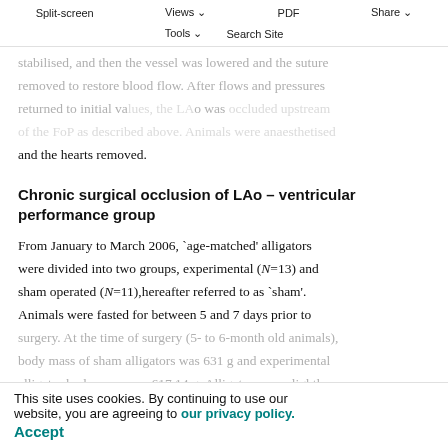Split-screen  Views  PDF  Share  |  Tools  Search Site
stabilised, and then the vessel was lowered and the suture removed to restore blood flow. After flows and pressures returned to initial values, the LAo was occluded upstream of the FoP as described above. Animals were anaesthetised and the hearts removed.
Chronic surgical occlusion of LAo – ventricular performance group
From January to March 2006, `age-matched' alligators were divided into two groups, experimental (N=13) and sham operated (N=11),hereafter referred to as `sham'. Animals were fasted for between 5 and 7 days prior to surgery. At the time of surgery (5- to 6-month old animals), body mass of sham alligators was 631 g and experimental alligator body mass was 617 14 g. Alligators were lightly anaesthetised by placing them in a sealed container with
This site uses cookies. By continuing to use our website, you are agreeing to our privacy policy.
Accept